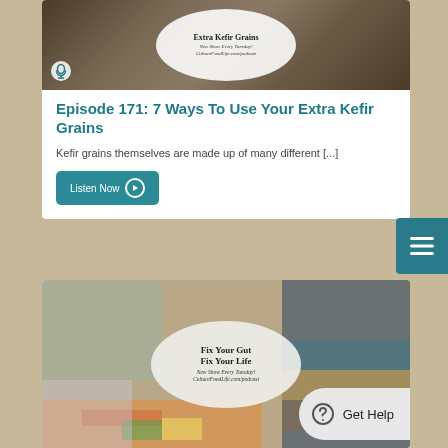[Figure (photo): Podcast episode thumbnail for Episode 171: 7 Ways To Use Your Extra Kefir Grains with circular overlay text and podcast icon]
Episode 171: 7 Ways To Use Your Extra Kefir Grains
Kefir grains themselves are made up of many different [...]
Listen Now
[Figure (photo): Podcast episode thumbnail for Fix Your Gut Fix Your Life with circular overlay text showing New Show Every Tuesday! CultureFoodLife.com/podcast and colorful bowls in background]